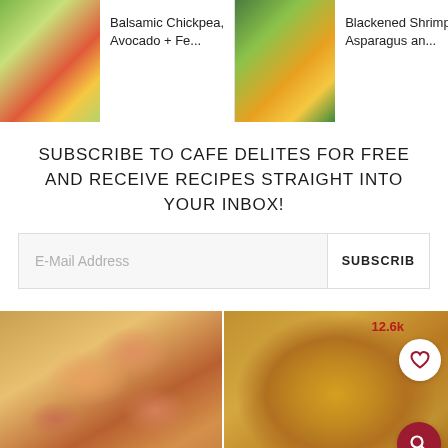[Figure (screenshot): Top navigation bar with food recipe thumbnails: Balsamic Chickpea Avocado + Fe..., Blackened Shrimp Asparagus an..., Loaded Gre... with search icon overlay]
SUBSCRIBE TO CAFE DELITES FOR FREE AND RECEIVE RECIPES STRAIGHT INTO YOUR INBOX!
[Figure (screenshot): Email subscription form with E-Mail Address placeholder input and SUBSCRIB button]
[Figure (photo): Two food photos side by side: left shows shrimp dish, right shows rustic bread loaf with 12.6k save count, heart icon and search icon]
[Figure (photo): Partial bottom images of two food dishes]